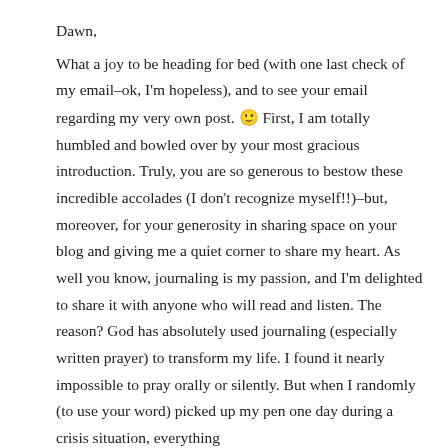Dawn,
What a joy to be heading for bed (with one last check of my email–ok, I'm hopeless), and to see your email regarding my very own post. 🙂 First, I am totally humbled and bowled over by your most gracious introduction. Truly, you are so generous to bestow these incredible accolades (I don't recognize myself!!)–but, moreover, for your generosity in sharing space on your blog and giving me a quiet corner to share my heart. As well you know, journaling is my passion, and I'm delighted to share it with anyone who will read and listen. The reason? God has absolutely used journaling (especially written prayer) to transform my life. I found it nearly impossible to pray orally or silently. But when I randomly (to use your word) picked up my pen one day during a crisis situation, everything changed. Words flowed, the peace of my heart was (what